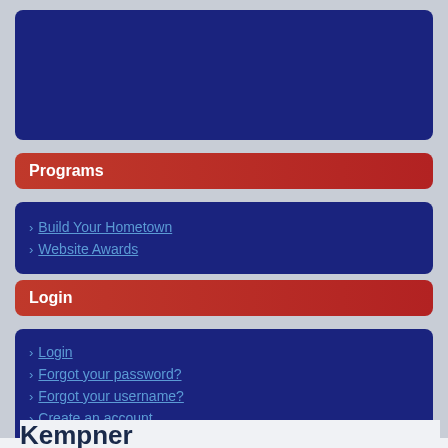[Figure (other): Dark navy blue banner/header image area]
Programs
Build Your Hometown
Website Awards
Login
Login
Forgot your password?
Forgot your username?
Create an account
Kempner
Kempner, Texas
We don't have a photo of this hometown yet.
Where is Kempner, Texas?